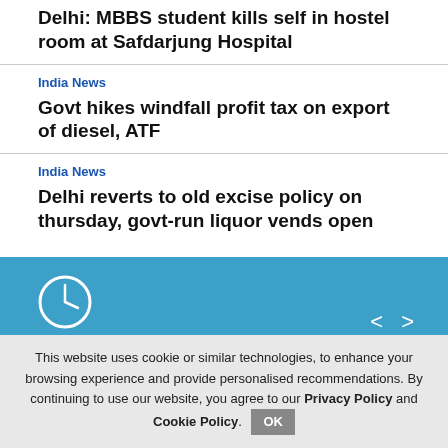Delhi: MBBS student kills self in hostel room at Safdarjung Hospital
India News
Govt hikes windfall profit tax on export of diesel, ATF
India News
Delhi reverts to old excise policy on thursday, govt-run liquor vends open
[Figure (screenshot): Just In news ticker widget with clock icon, navigation arrows, and partial red circle, on a blue background]
This website uses cookie or similar technologies, to enhance your browsing experience and provide personalised recommendations. By continuing to use our website, you agree to our Privacy Policy and Cookie Policy.